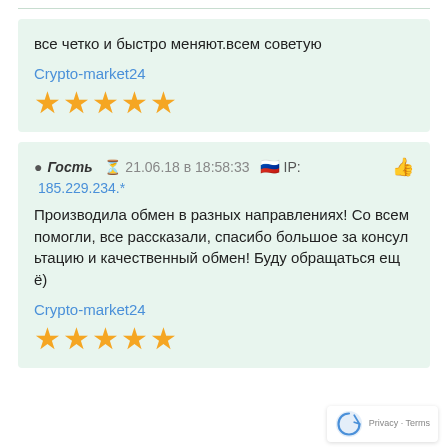все четко и быстро меняют.всем советую
Crypto-market24
[Figure (other): 5 gold stars rating]
Гость   21.06.18 в 18:58:33   IP: 185.229.234.*
Производила обмен в разных направлениях! Со всем помогли, все рассказали, спасибо большое за консультацию и качественный обмен! Буду обращаться ещё)
Crypto-market24
[Figure (other): 5 gold stars rating]
[Figure (logo): reCAPTCHA badge with Privacy and Terms]